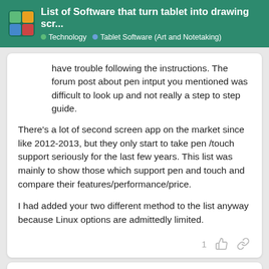List of Software that turn tablet into drawing scr... | Technology | Tablet Software (Art and Notetaking)
have trouble following the instructions. The forum post about pen intput you mentioned was difficult to look up and not really a step to step guide.
There's a lot of second screen app on the market since like 2012-2013, but they only start to take pen /touch support seriously for the last few years. This list was mainly to show those which support pen and touch and compare their features/performance/price.
I had added your two different method to the list anyway because Linux options are admittedly limited.
CrazyCat   Feb 20